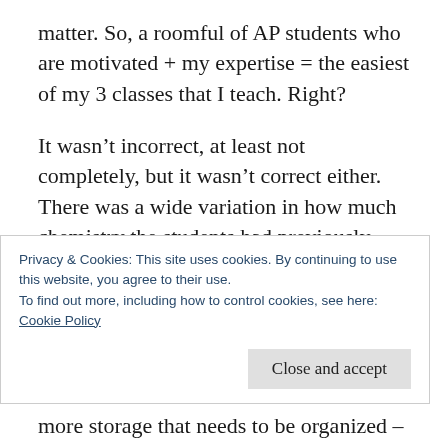matter. So, a roomful of AP students who are motivated + my expertise = the easiest of my 3 classes that I teach. Right?
It wasn't incorrect, at least not completely, but it wasn't correct either. There was a wide variation in how much chemistry the students had previously learned. Then, throw in a confidence factor and the traditional “who will do the work” factor, and it was more difficult than I envisioned. Plus, the “lab” I inherited
Privacy & Cookies: This site uses cookies. By continuing to use this website, you agree to their use.
To find out more, including how to control cookies, see here:
Cookie Policy
Close and accept
more storage that needs to be organized –